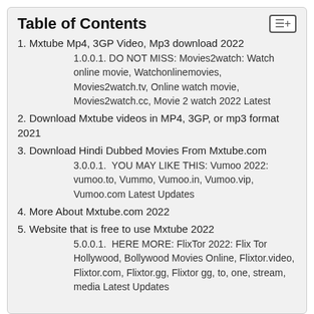Table of Contents
1. Mxtube Mp4, 3GP Video, Mp3 download 2022
1.0.0.1. DO NOT MISS: Movies2watch: Watch online movie, Watchonlinemovies, Movies2watch.tv, Online watch movie, Movies2watch.cc, Movie 2 watch 2022 Latest
2. Download Mxtube videos in MP4, 3GP, or mp3 format 2021
3. Download Hindi Dubbed Movies From Mxtube.com
3.0.0.1.  YOU MAY LIKE THIS: Vumoo 2022: vumoo.to, Vummo, Vumoo.in, Vumoo.vip, Vumoo.com Latest Updates
4. More About Mxtube.com 2022
5. Website that is free to use Mxtube 2022
5.0.0.1.  HERE MORE: FlixTor 2022: Flix Tor Hollywood, Bollywood Movies Online, Flixtor.video, Flixtor.com, Flixtor.gg, Flixtor gg, to, one, stream, media Latest Updates